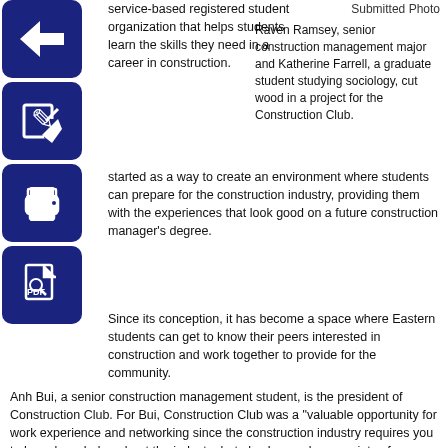[Figure (illustration): Four dark blue icon boxes with white icons: back arrow, edit/pencil, printer, and PDF document]
service-based registered student organization that helps students learn the skills they need in a career in construction.
Submitted Photo
Raven Ramsey, senior construction management major and Katherine Farrell, a graduate student studying sociology, cut wood in a project for the Construction Club.
started as a way to create an environment where students can prepare for the construction industry, providing them with the experiences that look good on a future construction manager's degree.
Since its conception, it has become a space where Eastern students can get to know their peers interested in construction and work together to provide for the community.
Anh Bui, a senior construction management student, is the president of Construction Club. For Bui, Construction Club was a "valuable opportunity for work experience and networking since the construction industry requires you to have knowledge about the industry but also have a large variety of networks that can help you."
He said that the student organization helps students enhance their construction skills then use that to improve the Charleston community.